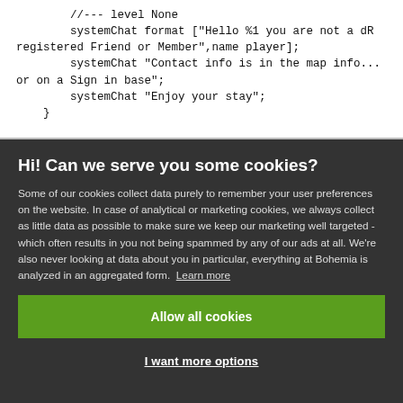[Figure (screenshot): Code snippet showing SQF/scripting code with systemChat commands and a //--- level None comment]
Hi! Can we serve you some cookies?
Some of our cookies collect data purely to remember your user preferences on the website. In case of analytical or marketing cookies, we always collect as little data as possible to make sure we keep our marketing well targeted - which often results in you not being spammed by any of our ads at all. We're also never looking at data about you in particular, everything at Bohemia is analyzed in an aggregated form. Learn more
Allow all cookies
I want more options